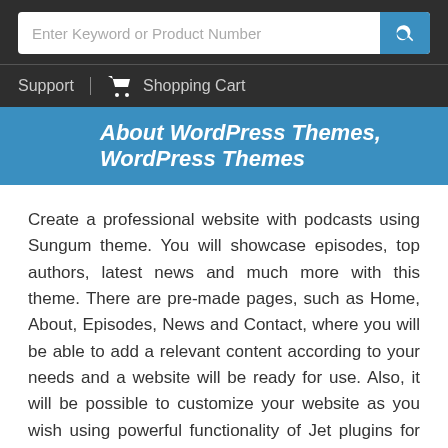Enter Keyword or Product Number
Support   Shopping Cart
About WordPress Themes, WordPress Themes
Create a professional website with podcasts using Sungum theme. You will showcase episodes, top authors, latest news and much more with this theme. There are pre-made pages, such as Home, About, Episodes, News and Contact, where you will be able to add a relevant content according to your needs and a website will be ready for use. Also, it will be possible to customize your website as you wish using powerful functionality of Jet plugins for Elementor page builder. With JetElements plugin you will enrich the content with useful and attractive elements and apply varied style settings to them easily and quickly. Using JetTabs plugin you will organize the content into compact and well-structured tabs and accordion blocks in such a way that the website will look neater. JetThemeCore plugin will allow creating